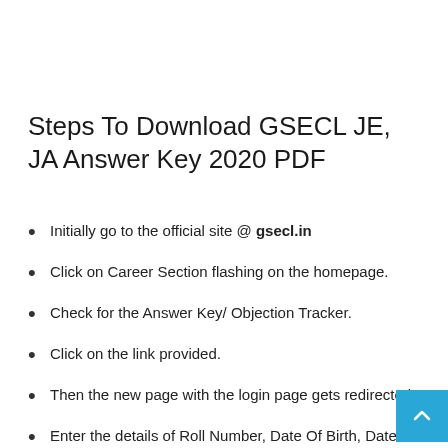Steps To Download GSECL JE, JA Answer Key 2020 PDF
Initially go to the official site @ gsecl.in
Click on Career Section flashing on the homepage.
Check for the Answer Key/ Objection Tracker.
Click on the link provided.
Then the new page with the login page gets redirected.
Enter the details of Roll Number, Date Of Birth, Date Of The Exam, Select Batch.
Later enter the text given.